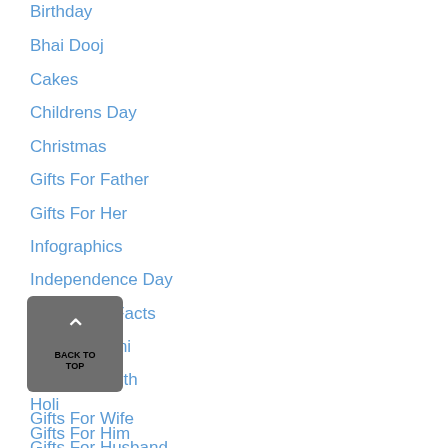Birthday
Bhai Dooj
Cakes
Childrens Day
Christmas
Gifts For Father
Gifts For Her
Infographics
Independence Day
Interesting Facts
Janmashtami
Karwa Chauth
Holi
Gifts For Wife
Gifts For Him
Gifts For Husband